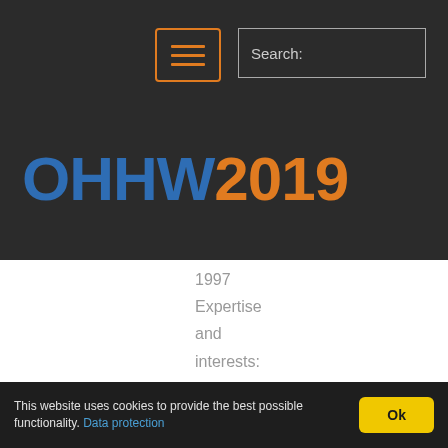[Figure (screenshot): Dark navigation header bar with hamburger menu button (orange border and lines) on the left and a Search text input box on the right]
OHHW2019
1997 Expertise and interests: Epidemiology, particularly
This website uses cookies to provide the best possible functionality. Data protection